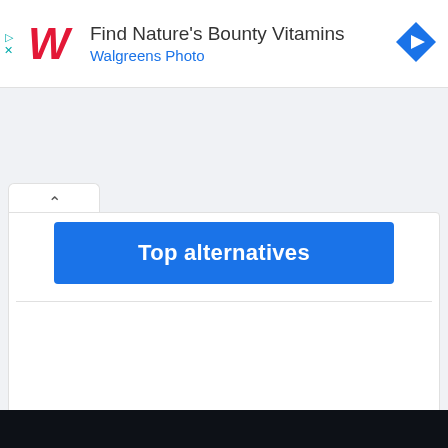[Figure (screenshot): Walgreens ad banner with red italic W logo, text 'Find Nature's Bounty Vitamins' in dark gray and 'Walgreens Photo' in blue, with a blue diamond navigation icon on the right]
[Figure (screenshot): Web page UI showing a tab/accordion with chevron-up button, a blue 'Top alternatives' button, and a white card content area below with a horizontal divider line]
[Figure (screenshot): Dark navy/black footer bar at the bottom of the page]